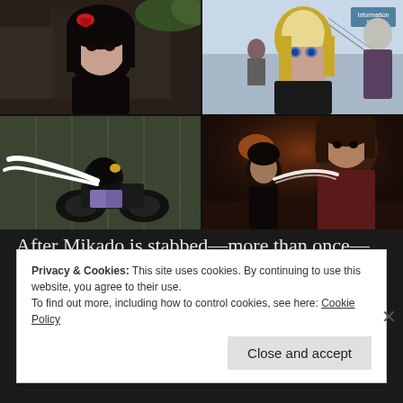[Figure (illustration): 2x2 grid of anime screenshots: top-left shows a dark-haired girl with red ribbon in an outdoor urban scene; top-right shows a blonde anime girl with blue eyes at what appears to be a train station with 'Information' sign, and a grey-haired person beside her; bottom-left shows a figure in black helmet riding a motorcycle along a chain-link fence; bottom-right shows two characters in a dark restaurant/bar setting, one wearing dark clothes appearing to attack the other.]
After Mikado is stabbed—more than once—the show starts wrapping up loose ends, from Kasane denying
Privacy & Cookies: This site uses cookies. By continuing to use this website, you agree to their use.
To find out more, including how to control cookies, see here: Cookie Policy
Close and accept